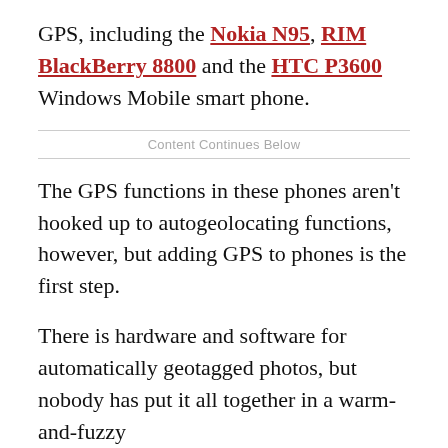GPS, including the Nokia N95, RIM BlackBerry 8800 and the HTC P3600 Windows Mobile smart phone.
Content Continues Below
The GPS functions in these phones aren't hooked up to autogeolocating functions, however, but adding GPS to phones is the first step.
There is hardware and software for automatically geotagged photos, but nobody has put it all together in a warm-and-fuzzy